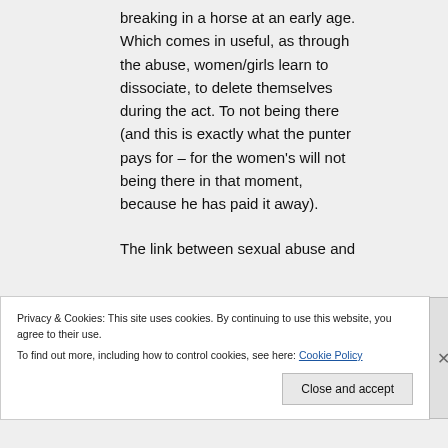breaking in a horse at an early age. Which comes in useful, as through the abuse, women/girls learn to dissociate, to delete themselves during the act. To not being there (and this is exactly what the punter pays for – for the women's will not being there in that moment, because he has paid it away).

The link between sexual abuse and
Privacy & Cookies: This site uses cookies. By continuing to use this website, you agree to their use.
To find out more, including how to control cookies, see here: Cookie Policy